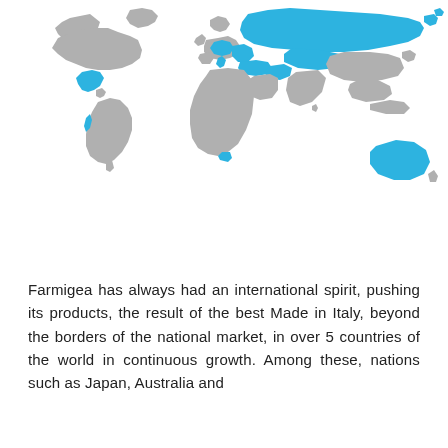[Figure (map): World map showing countries highlighted in blue (Farmigea export markets) including Russia, much of Europe, parts of Middle East, Mexico, Peru/Ecuador region, southern tip of Africa, and Australia. Non-highlighted countries shown in gray.]
Farmigea has always had an international spirit, pushing its products, the result of the best Made in Italy, beyond the borders of the national market, in over 5 countries of the world in continuous growth. Among these, nations such as Japan, Australia and